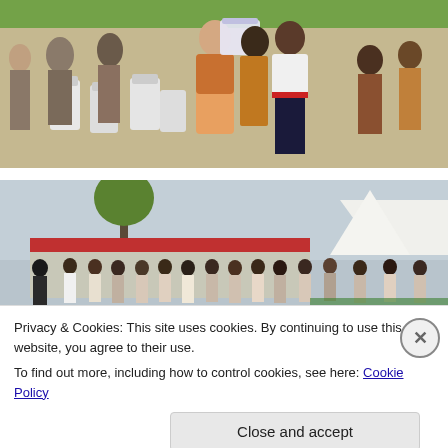[Figure (photo): Outdoor ceremony scene: two women standing together, one holding a wrapped gift/award. White plastic chairs in background, green tent canopy overhead, other attendees visible.]
[Figure (photo): Outdoor gathering with a crowd of people standing in front of a building with a red roof and white tented structures. Trees and grey sky in background.]
Privacy & Cookies: This site uses cookies. By continuing to use this website, you agree to their use.
To find out more, including how to control cookies, see here: Cookie Policy
Close and accept